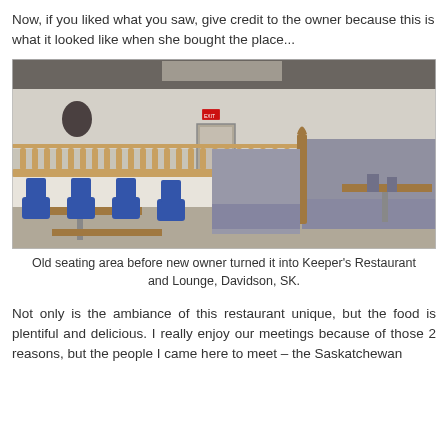Now, if you liked what you saw, give credit to the owner because this is what it looked like when she bought the place...
[Figure (photo): Interior photo of old seating area in a restaurant before renovation. Shows wooden baluster railing dividing the space, booth seating with gray upholstery on the right, and tables with blue chairs on the left. Walls are white/beige and the space looks dated and empty.]
Old seating area before new owner turned it into Keeper's Restaurant and Lounge, Davidson, SK.
Not only is the ambiance of this restaurant unique, but the food is plentiful and delicious. I really enjoy our meetings because of those 2 reasons, but the people I came here to meet - the Saskatchewan